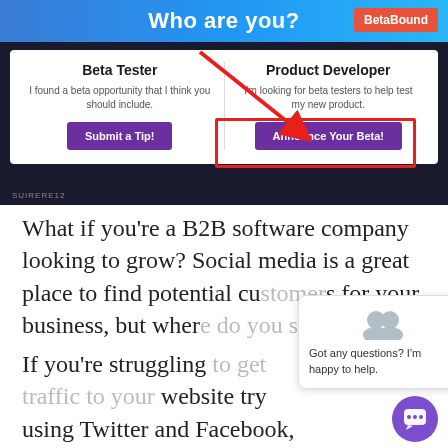[Figure (screenshot): Screenshot of BetaBound website showing 'Who are you?' page with Beta Tester and Product Developer options, with a red arrow pointing to the 'Announce Your Beta!' button which is highlighted with a red rectangle border.]
What if you're a B2B software company looking to grow? Social media is a great place to find potential cu... business, but wher...
If you're struggling... website try using Twitter and Facebook, while LinkedIn prospecting can be an incredibly powerful way of generating new
[Figure (screenshot): Chat popup widget with avatar icons, close button (×), and text 'Got any questions? I'm happy to help.' with a purple chat bubble button in the bottom right.]